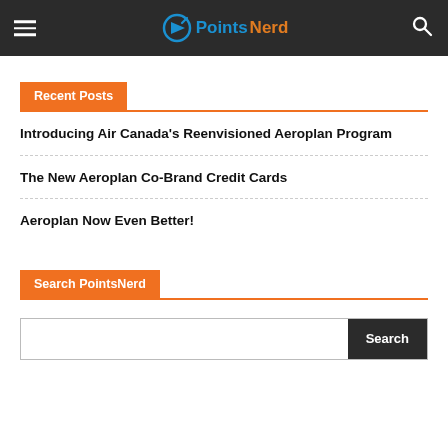PointsNerd
Recent Posts
Introducing Air Canada's Reenvisioned Aeroplan Program
The New Aeroplan Co-Brand Credit Cards
Aeroplan Now Even Better!
Search PointsNerd